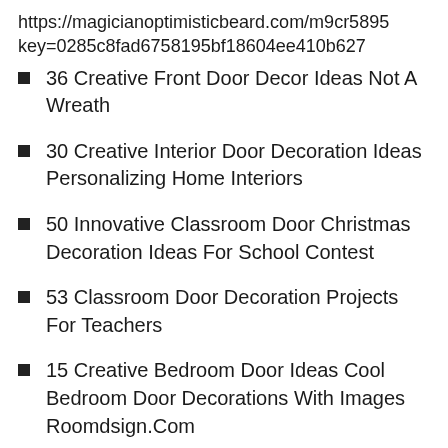https://magicianoptimisticbeard.com/m9cr5895key=0285c8fad6758195bf18604ee410b627
36 Creative Front Door Decor Ideas Not A Wreath
30 Creative Interior Door Decoration Ideas Personalizing Home Interiors
50 Innovative Classroom Door Christmas Decoration Ideas For School Contest
53 Classroom Door Decoration Projects For Teachers
15 Creative Bedroom Door Ideas Cool Bedroom Door Decorations With Images Roomdsign.Com